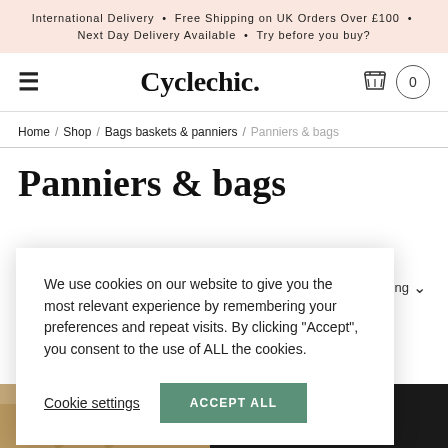International Delivery • Free Shipping on UK Orders Over £100 • Next Day Delivery Available • Try before you buy?
[Figure (logo): Cyclechic. logo with hamburger menu icon and basket cart icon with 0 count]
Home / Shop / Bags baskets & panniers / Panniers & bags
Panniers & bags
We use cookies on our website to give you the most relevant experience by remembering your preferences and repeat visits. By clicking "Accept", you consent to the use of ALL the cookies.
Cookie settings
ACCEPT ALL
[Figure (photo): Partial view of two product images at the bottom - a beige/tan fabric item on the left and a black bag on the right]